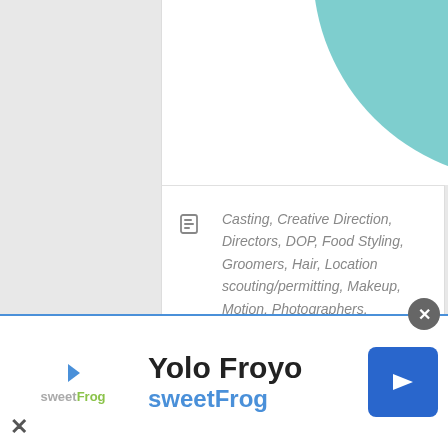[Figure (illustration): Partial teal/mint colored circle visible at top of profile card]
Casting, Creative Direction, Directors, DOP, Food Styling, Groomers, Hair, Location scouting/permitting, Makeup, Motion, Photographers, Production, Prop Styling, Retouchers, Set Design, Stylists
Australia, Melbourne, Singapore, Sydney
Architecture, Automotive/Transport, Beauty, Conceptual, Editorial Portrait, Fashion, Food, Hotel/Resort, Interior/Decor, Lifestyle, Liquid, Still Life, Travel
[Figure (screenshot): Advertisement banner for Yolo Froyo / sweetFrog with logo, title, subtitle and navigation arrow icon]